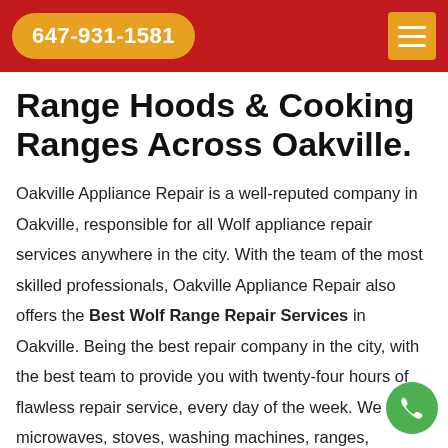647-931-1581
Range Hoods & Cooking Ranges Across Oakville.
Oakville Appliance Repair is a well-reputed company in Oakville, responsible for all Wolf appliance repair services anywhere in the city. With the team of the most skilled professionals, Oakville Appliance Repair also offers the Best Wolf Range Repair Services in Oakville. Being the best repair company in the city, with the best team to provide you with twenty-four hours of flawless repair service, every day of the week. We repair microwaves, stoves, washing machines, ranges,